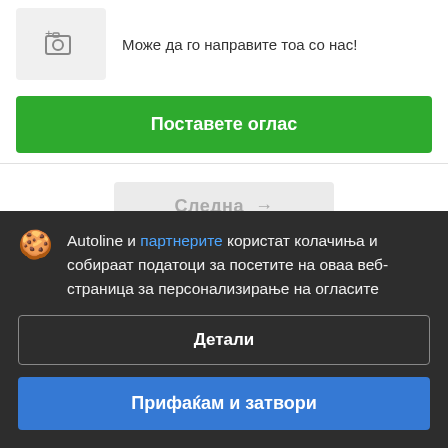[Figure (illustration): Camera icon with a plus sign inside a light gray rounded rectangle box]
Може да го направите тоа со нас!
Поставете оглас
Следна →
Autoline и партнерите користат колачиња и собираат податоци за посетите на оваа веб-страница за персонализирање на огласите
Детали
Прифаќам и затвори